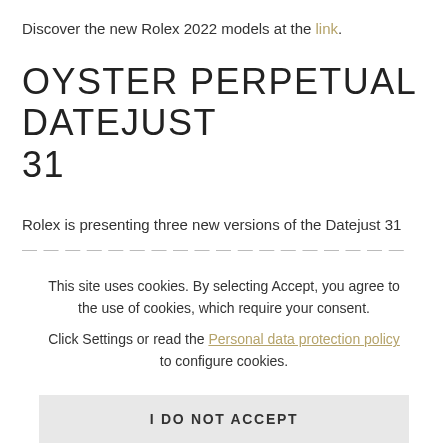Discover the new Rolex 2022 models at the link.
OYSTER PERPETUAL DATEJUST 31
Rolex is presenting three new versions of the Datejust 31
This site uses cookies. By selecting Accept, you agree to the use of cookies, which require your consent.
Click Settings or read the Personal data protection policy to configure cookies.
I DO NOT ACCEPT
ACCEPT
Settings...